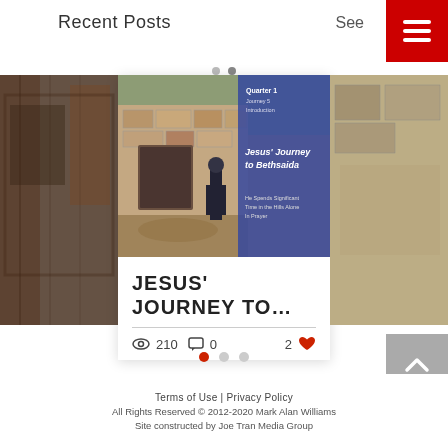Recent Posts
See
[Figure (screenshot): Website screenshot showing a blog post card titled 'Jesus' Journey To...' with a photo of ruins and a person, stats showing 210 views, 0 comments, 2 likes. Left and right partial images of other posts also visible. Navigation dots and hamburger menu present.]
Terms of Use | Privacy Policy
All Rights Reserved © 2012-2020 Mark Alan Williams
Site constructed by Joe Tran Media Group